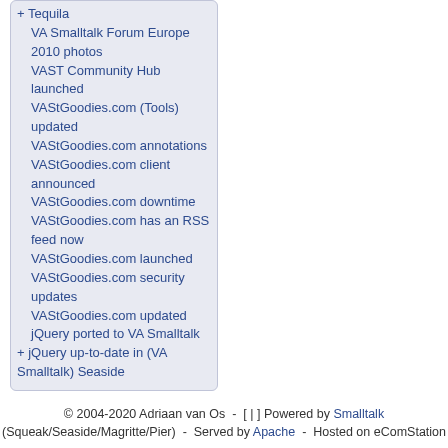Tequila
VA Smalltalk Forum Europe 2010 photos
VAST Community Hub launched
VAStGoodies.com (Tools) updated
VAStGoodies.com annotations
VAStGoodies.com client announced
VAStGoodies.com downtime
VAStGoodies.com has an RSS feed now
VAStGoodies.com launched
VAStGoodies.com security updates
VAStGoodies.com updated
jQuery ported to VA Smalltalk
jQuery up-to-date in (VA Smalltalk) Seaside
© 2004-2020 Adriaan van Os  -  [ | ] Powered by Smalltalk (Squeak/Seaside/Magritte/Pier)  -  Served by Apache  -  Hosted on eComStation